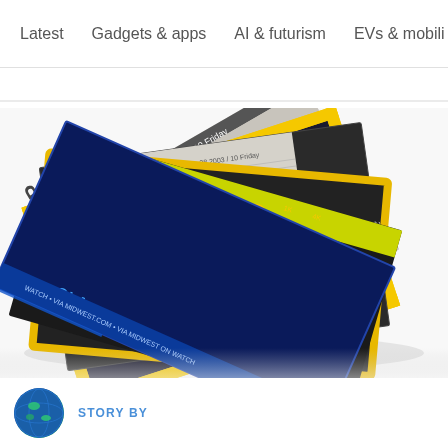Latest  Gadgets & apps  AI & futurism  EVs & mobili >
[Figure (photo): A fanned-out pile of magazines including National Geographic (with yellow border and AFGHANISTAN cover story), newspapers, and other publications arranged on a white surface.]
STORY BY